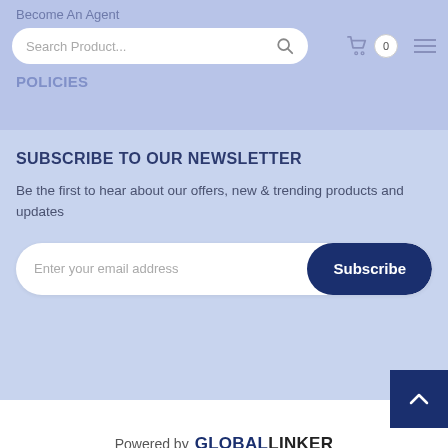Become An Agent
Search Product...
POLICIES
SUBSCRIBE TO OUR NEWSLETTER
Be the first to hear about our offers, new & trending products and updates
Enter your email address
Subscribe
Powered by GLOBALLINKER
View our business profile